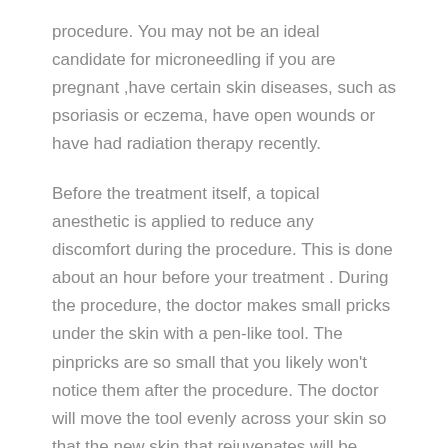procedure. You may not be an ideal candidate for microneedling if you are pregnant ,have certain skin diseases, such as psoriasis or eczema, have open wounds or have had radiation therapy recently.
Before the treatment itself, a topical anesthetic is applied to reduce any discomfort during the procedure. This is done about an hour before your treatment . During the procedure, the doctor makes small pricks under the skin with a pen-like tool. The pinpricks are so small that you likely won't notice them after the procedure. The doctor will move the tool evenly across your skin so that the new skin that rejuvenates will be even too. The actual microneedling process takes approximately 30 minutes.